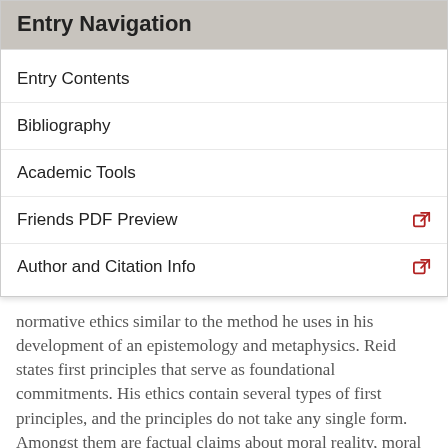Entry Navigation
Entry Contents
Bibliography
Academic Tools
Friends PDF Preview
Author and Citation Info
normative ethics similar to the method he uses in his development of an epistemology and metaphysics. Reid states first principles that serve as foundational commitments. His ethics contain several types of first principles, and the principles do not take any single form. Amongst them are factual claims about moral reality, moral judgments about action types, claims about obligations, etc. Reid says that there are three types of moral principles, but the distinction between these types is not always clear.
The first type is about “virtue in general.” This set